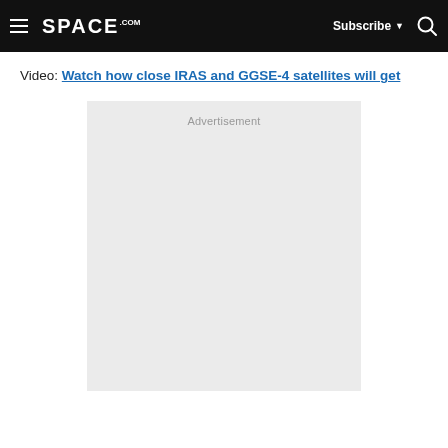SPACE.com — Subscribe — Search
Video: Watch how close IRAS and GGSE-4 satellites will get
[Figure (other): Advertisement placeholder box with light gray background]